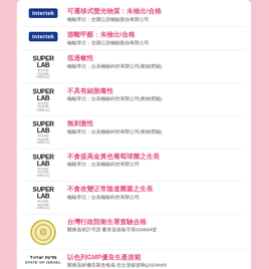可遷移式螢光物質：未檢出/合格 檢驗單位：全國公證檢驗股份有限公司
游離甲醛：未檢出/合格 檢驗單位：全國公證檢驗股份有限公司
低過敏性 檢驗單位：台美檢驗科技有限公司(動物實驗)
不具有細胞毒性 檢驗單位：台美檢驗科技有限公司(動物實驗)
無刺激性 檢驗單位：台美檢驗科技有限公司(動物實驗)
不會提高金黃色葡萄球菌之生長 檢驗單位：台美檢驗科技有限公司
不會改變正常陰道菌叢之生長 檢驗單位：台美檢驗科技有限公司
台灣行政院衛生署查驗合格 醫療器材許可證 審查器器輸字第020684號
以色列GMP優良生產規範 醫療器材優良製造報備 在台登錄號碼QSD4665